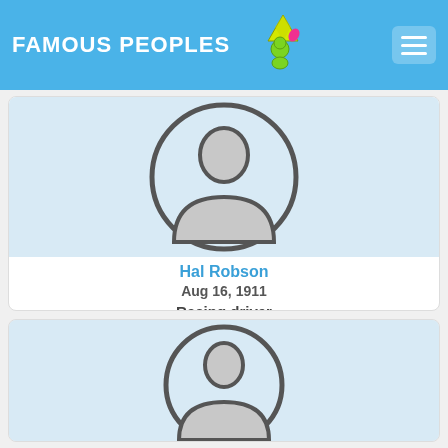FAMOUS PEOPLES
[Figure (photo): Placeholder avatar silhouette for Hal Robson on light blue background]
Hal Robson
Aug 16, 1911
Racing driver
[Figure (photo): Placeholder avatar silhouette on light blue background for second person]